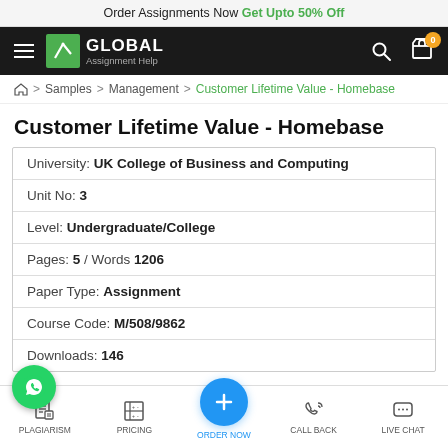Order Assignments Now Get Upto 50% Off
[Figure (logo): Global Assignment Help navigation bar with hamburger menu, logo, search and cart icons]
Home > Samples > Management > Customer Lifetime Value - Homebase
Customer Lifetime Value - Homebase
| University: | UK College of Business and Computing |
| Unit No: | 3 |
| Level: | Undergraduate/College |
| Pages: | 5 / Words 1206 |
| Paper Type: | Assignment |
| Course Code: | M/508/9862 |
| Downloads: | 146 |
PLAGIARISM  PRICING  ORDER NOW  CALL BACK  LIVE CHAT